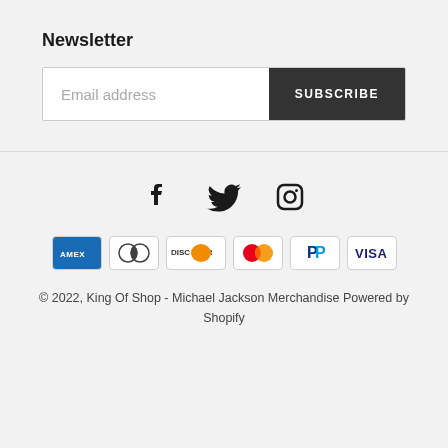Newsletter
[Figure (other): Email subscription form with text input 'Email address' and a dark 'SUBSCRIBE' button]
[Figure (other): Social media icons: Facebook, Twitter, Instagram]
[Figure (other): Payment method icons: Amex, Diners Club, Discover, Mastercard, PayPal, Visa]
© 2022, King Of Shop - Michael Jackson Merchandise Powered by Shopify